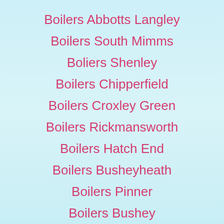Boilers Abbotts Langley
Boilers South Mimms
Boliers Shenley
Boilers Chipperfield
Boilers Croxley Green
Boilers Rickmansworth
Boilers Hatch End
Boilers Busheyheath
Boilers Pinner
Boilers Bushey
Boilers Butlers Bar